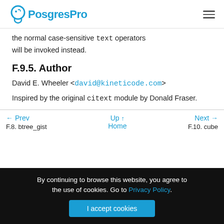PostgresPro
the normal case-sensitive text operators will be invoked instead.
F.9.5. Author
David E. Wheeler <david@kineticode.com>
Inspired by the original citext module by Donald Fraser.
← Prev F.8. btree_gist | Up ↑ Home | Next → F.10. cube
By continuing to browse this website, you agree to the use of cookies. Go to Privacy Policy.